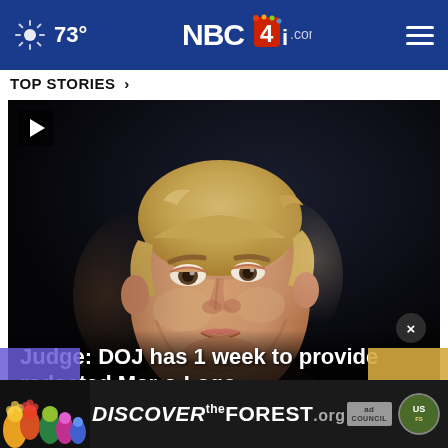73° NBC4i.com
TOP STORIES >
[Figure (photo): Close-up photo of Donald Trump speaking, with blonde hair, against a dark background. A video play button icon is in the upper left corner of the image.]
Judge: DOJ has 1 week to provide redacted Mar-a-Lago ...
[Figure (advertisement): Ad banner reading 'DISCOVERtheFOREST.org' with Ad Council and US Forest Service logos, colorful floral imagery on left side.]